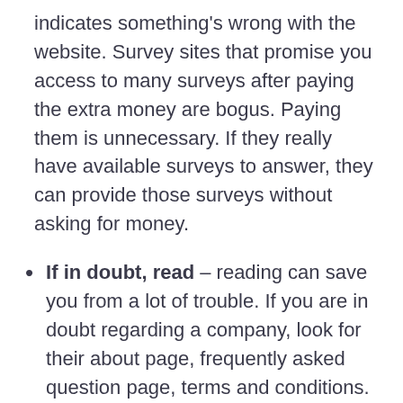indicates something's wrong with the website. Survey sites that promise you access to many surveys after paying the extra money are bogus. Paying them is unnecessary. If they really have available surveys to answer, they can provide those surveys without asking for money.
If in doubt, read – reading can save you from a lot of trouble. If you are in doubt regarding a company, look for their about page, frequently asked question page, terms and conditions. If you cannot find these pages and